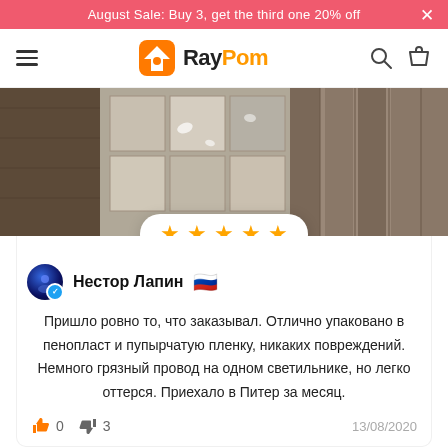August Sale: Buy 3, get the third one 20% off
[Figure (logo): RayPom logo with orange house/lamp icon]
[Figure (photo): Product photo showing wood flooring tiles and samples from above]
★★★★★ (5 stars)
Нестор Лапин 🇷🇺
Пришло ровно то, что заказывал. Отлично упаковано в пенопласт и пупырчатую пленку, никаких повреждений. Немного грязный провод на одном светильнике, но легко оттерся. Приехало в Питер за месяц.
👍 0  👎 3  13/08/2020
[Figure (photo): Product photo showing yellow round lamp with cord on grey background]